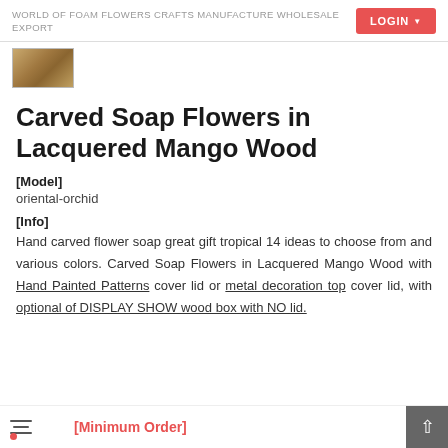WORLD OF FOAM FLOWERS CRAFTS MANUFACTURE WHOLESALE EXPORT
[Figure (photo): Small thumbnail photo of a wooden box product]
Carved Soap Flowers in Lacquered Mango Wood
[Model]
oriental-orchid
[Info]
Hand carved flower soap great gift tropical 14 ideas to choose from and various colors. Carved Soap Flowers in Lacquered Mango Wood with Hand Painted Patterns cover lid or metal decoration top cover lid, with optional of DISPLAY SHOW wood box with NO lid.
[Minimum Order]